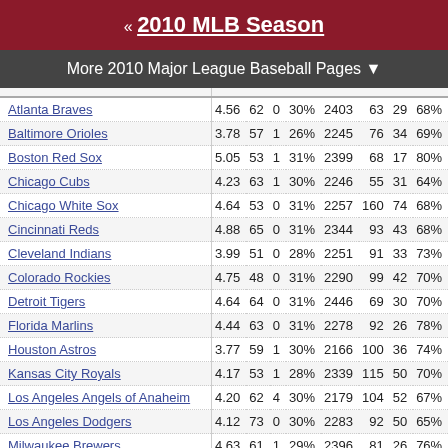« 2010 MLB Season
More 2010 Major League Baseball Pages ▼
| Team |  |  |  |  |  |  |  |  |  |
| --- | --- | --- | --- | --- | --- | --- | --- | --- | --- |
| Atlanta Braves | 4.56 | 62 | 0 | 30% | 2403 | 63 | 29 | 68% | 55 |
| Baltimore Orioles | 3.78 | 57 | 1 | 26% | 2245 | 76 | 34 | 69% | 70 |
| Boston Red Sox | 5.05 | 53 | 1 | 31% | 2399 | 68 | 17 | 80% | 56 |
| Chicago Cubs | 4.23 | 63 | 1 | 30% | 2246 | 55 | 31 | 64% | 47 |
| Chicago White Sox | 4.64 | 53 | 0 | 31% | 2257 | 160 | 74 | 68% | 134 |
| Cincinnati Reds | 4.88 | 65 | 0 | 31% | 2344 | 93 | 43 | 68% | 79 |
| Cleveland Indians | 3.99 | 51 | 0 | 28% | 2251 | 91 | 33 | 73% | 80 |
| Colorado Rockies | 4.75 | 48 | 0 | 31% | 2290 | 99 | 42 | 70% | 88 |
| Detroit Tigers | 4.64 | 64 | 0 | 31% | 2446 | 69 | 30 | 70% | 68 |
| Florida Marlins | 4.44 | 63 | 0 | 31% | 2278 | 92 | 26 | 78% | 87 |
| Houston Astros | 3.77 | 59 | 1 | 30% | 2166 | 100 | 36 | 74% | 90 |
| Kansas City Royals | 4.17 | 53 | 1 | 28% | 2339 | 115 | 50 | 70% | 98 |
| Los Angeles Angels of Anaheim | 4.20 | 62 | 4 | 30% | 2179 | 104 | 52 | 67% | 90 |
| Los Angeles Dodgers | 4.12 | 73 | 0 | 30% | 2283 | 92 | 50 | 65% | 83 |
| Milwaukee Brewers | 4.63 | 61 | 1 | 29% | 2396 | 81 | 26 | 76% | 70 |